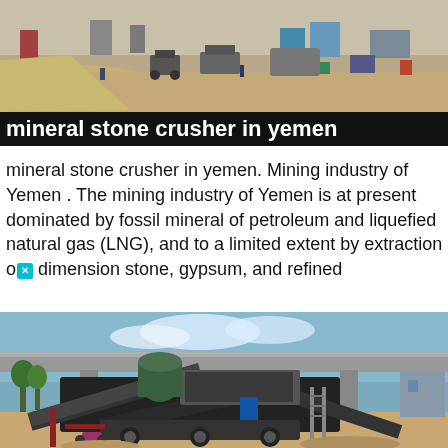[Figure (photo): Outdoor mining/quarry site with sand mounds, heavy equipment, and workers in a dusty yard]
mineral stone crusher in yemen
mineral stone crusher in yemen. Mining industry of Yemen . The mining industry of Yemen is at present dominated by fossil mineral of petroleum and liquefied natural gas (LNG), and to a limited extent by extraction of dimension stone, gypsum, and refined
[Figure (photo): Large mobile stone crusher machine on wheels at an industrial site, with a highway overpass in the background]